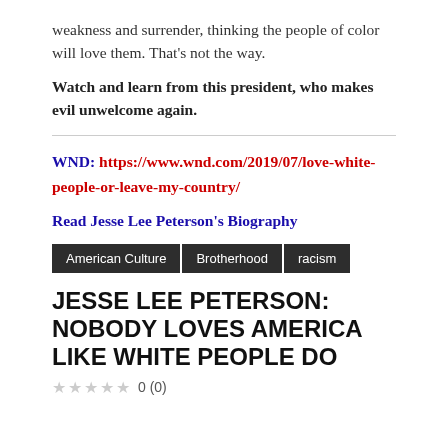weakness and surrender, thinking the people of color will love them. That's not the way.
Watch and learn from this president, who makes evil unwelcome again.
WND: https://www.wnd.com/2019/07/love-white-people-or-leave-my-country/
Read Jesse Lee Peterson's Biography
American Culture   Brotherhood   racism
JESSE LEE PETERSON: NOBODY LOVES AMERICA LIKE WHITE PEOPLE DO
★★★★★ 0 (0)